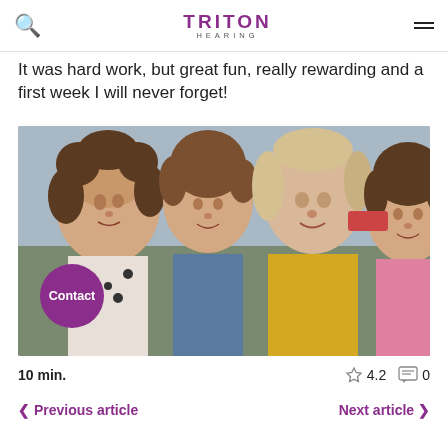Triton Hearing
It was hard work, but great fun, really rewarding and a first week I will never forget!
[Figure (photo): A woman and three young girls smiling together in a selfie-style photo outdoors. A purple circular 'Contact' button overlays the bottom-left of the image.]
10 min.
4.2
0
Previous article
Next article